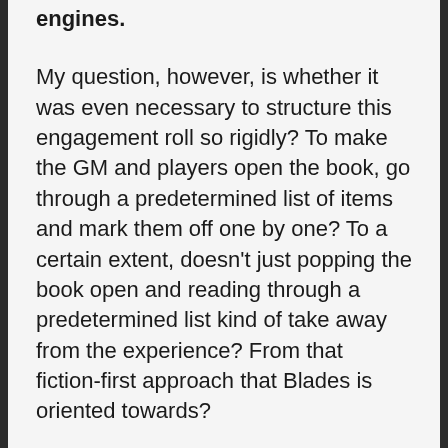engines.
My question, however, is whether it was even necessary to structure this engagement roll so rigidly? To make the GM and players open the book, go through a predetermined list of items and mark them off one by one? To a certain extent, doesn't just popping the book open and reading through a predetermined list kind of take away from the experience? From that fiction-first approach that Blades is oriented towards?
Let's put it another way…. What would we lose if the engagement roll was structured not as a set of bullet points to go through, but as a set of suggestions and ideas?
Your approach does not have to be classified as